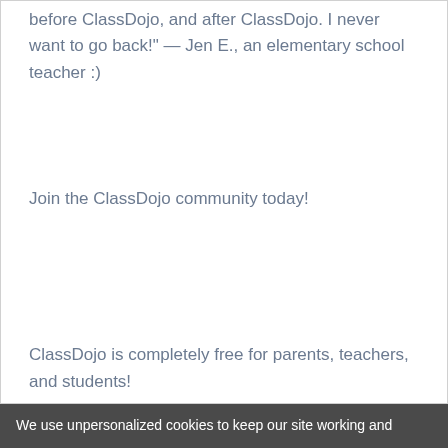before ClassDojo, and after ClassDojo. I never want to go back!" — Jen E., an elementary school teacher :)
Join the ClassDojo community today!
ClassDojo is completely free for parents, teachers, and students!
We use unpersonalized cookies to keep our site working and